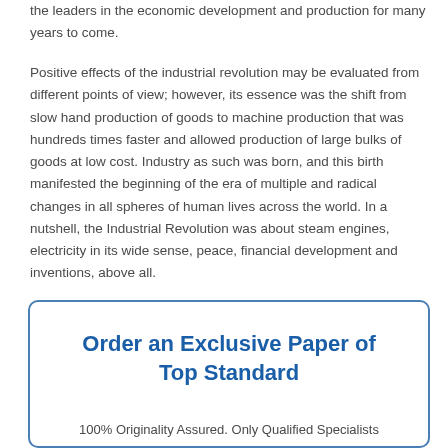the leaders in the economic development and production for many years to come.
Positive effects of the industrial revolution may be evaluated from different points of view; however, its essence was the shift from slow hand production of goods to machine production that was hundreds times faster and allowed production of large bulks of goods at low cost. Industry as such was born, and this birth manifested the beginning of the era of multiple and radical changes in all spheres of human lives across the world. In a nutshell, the Industrial Revolution was about steam engines, electricity in its wide sense, peace, financial development and inventions, above all.
Order an Exclusive Paper of Top Standard
100% Originality Assured. Only Qualified Specialists